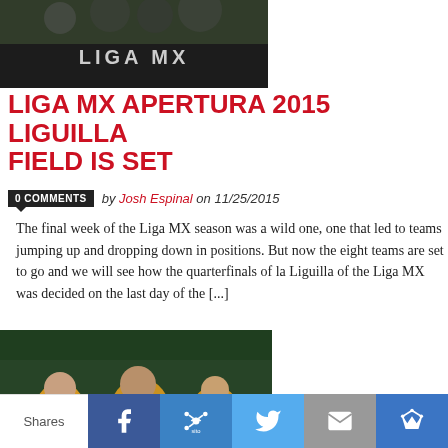[Figure (photo): Dark banner image showing Liga MX logo/text on a dark background with decorative elements]
LIGA MX APERTURA 2015 LIGUILLA FIELD IS SET
0 COMMENTS by Josh Espinal on 11/25/2015
The final week of the Liga MX season was a wild one, one that led to teams jumping up and dropping down in positions. But now the eight teams are set to go and we will see how the quarterfinals of la Liguilla of the Liga MX was decided on the last day of the [...]
[Figure (photo): Soccer players in yellow/orange jerseys celebrating, one wearing TECATE Banamex jersey]
Shares